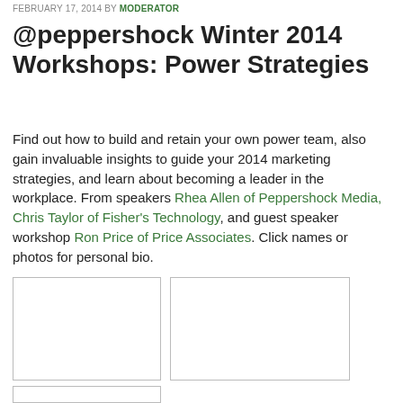FEBRUARY 17, 2014 BY MODERATOR
@peppershock Winter 2014 Workshops: Power Strategies
Find out how to build and retain your own power team, also gain invaluable insights to guide your 2014 marketing strategies, and learn about becoming a leader in the workplace. From speakers Rhea Allen of Peppershock Media, Chris Taylor of Fisher's Technology, and guest speaker workshop Ron Price of Price Associates. Click names or photos for personal bio.
[Figure (photo): Empty photo placeholder box 1]
[Figure (photo): Empty photo placeholder box 2]
[Figure (photo): Empty photo placeholder box 3 (partially visible)]